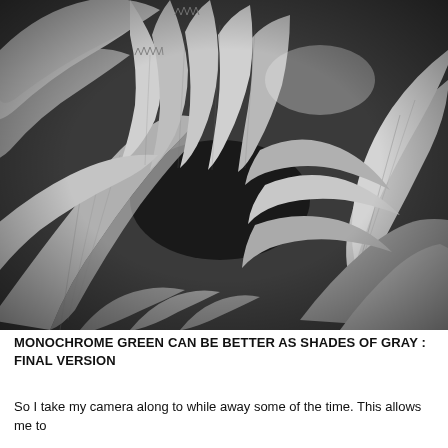[Figure (photo): Close-up black and white photograph of layered plant leaves with serrated edges, showing intricate vein texture and radiating leaf patterns, high contrast monochrome.]
MONOCHROME GREEN CAN BE BETTER AS SHADES OF GRAY : FINAL VERSION
So I take my camera along to while away some of the time. This allows me to